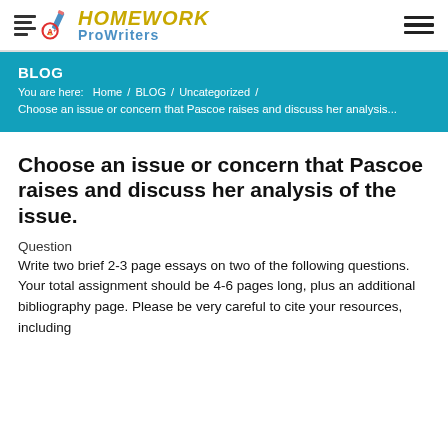[Figure (logo): Homework ProWriters logo with lines, pencil icon, and colored text]
BLOG
You are here:  Home  /  BLOG  /  Uncategorized  /  Choose an issue or concern that Pascoe raises and discuss her analysis...
Choose an issue or concern that Pascoe raises and discuss her analysis of the issue.
Question
Write two brief 2-3 page essays on two of the following questions. Your total assignment should be 4-6 pages long, plus an additional bibliography page. Please be very careful to cite your resources, including